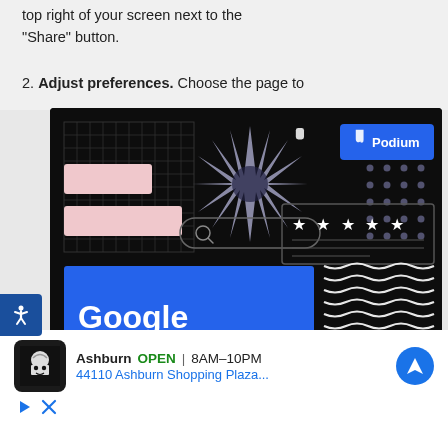top right of your screen next to the “Share” button.
2. Adjust preferences. Choose the page to
[Figure (illustration): Promotional graphic for Google Reviews 101 by Podium. Dark/black background with decorative geometric and graphic elements including a grid pattern, starburst, dot grid, pink rectangles, search bar, star rating box, and wavy stripes. Large blue rectangle contains bold white text reading 'Google Reviews 101'. Podium logo in blue at top right.]
Ashburn  OPEN | 8AM–10PM  44110 Ashburn Shopping Plaza...